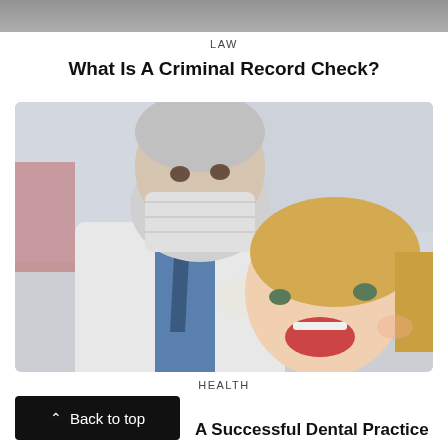[Figure (photo): Partial top portion of a photo, appears to be a blurred grey/dark image strip at the very top of the page]
LAW
What Is A Criminal Record Check?
[Figure (photo): A dentist wearing a white lab coat, blue shirt, and surgical mask examines a young blonde female patient whose mouth is open. The dentist holds dental tools. Clinical dental office background.]
HEALTH
Back to top
A Successful Dental Practice